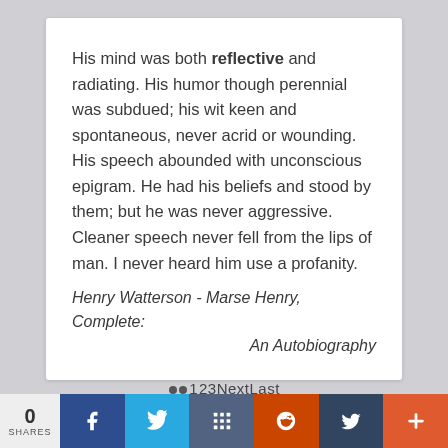His mind was both reflective and radiating. His humor though perennial was subdued; his wit keen and spontaneous, never acrid or wounding. His speech abounded with unconscious epigram. He had his beliefs and stood by them; but he was never aggressive. Cleaner speech never fell from the lips of man. I never heard him use a profanity.
Henry Watterson - Marse Henry, Complete: An Autobiography
••123NextLast
0 SHARES